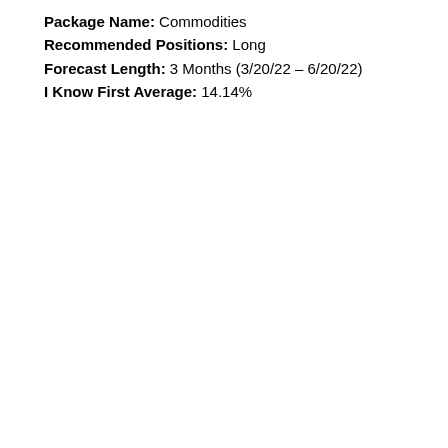Package Name: Commodities
Recommended Positions: Long
Forecast Length: 3 Months (3/20/22 – 6/20/22)
I Know First Average: 14.14%